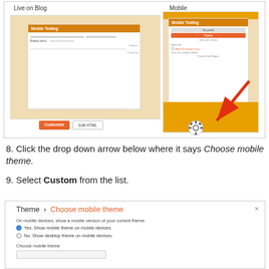[Figure (screenshot): Screenshot showing Blogger theme editor with 'Live on Blog' preview on left (showing Mobile Testing blog with orange header) and 'Mobile' preview on right (showing mobile version of same blog). Bottom has Customize and Edit HTML buttons under Live preview, and a gear icon under Mobile preview. A red arrow points to the gear icon.]
8. Click the drop down arrow below where it says Choose mobile theme.
9. Select Custom from the list.
[Figure (screenshot): Dialog box showing 'Theme > Choose mobile theme' with options: 'On mobile devices, show a mobile version of your current theme.', radio button Yes (selected) 'Yes. Show mobile theme on mobile devices.', radio button No 'No. Show desktop theme on mobile devices.', and 'Choose mobile theme' dropdown below.]